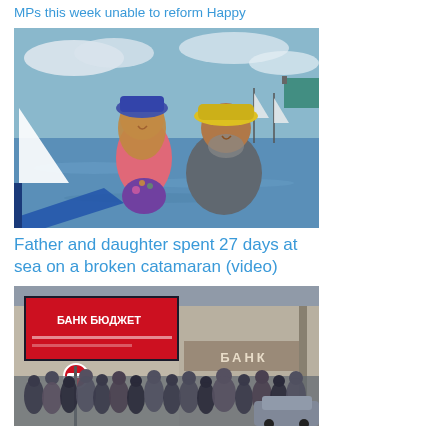MPs this week unable to reform Happy
[Figure (photo): A young girl in a pink jacket and blue hat smiling with a bearded man in a yellow hat, near sailboats on water]
Father and daughter spent 27 days at sea on a broken catamaran (video)
[Figure (photo): Crowd of people gathered outside a building with БАНК / BANK signage and a billboard, with a no-entry sign visible]